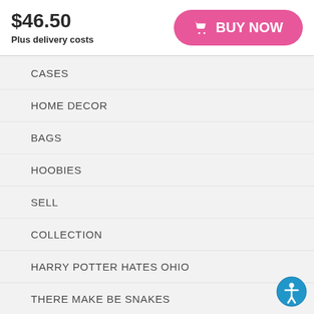$46.50
Plus delivery costs
[Figure (other): Pink rounded BUY NOW button with shopping cart icon]
CASES
HOME DECOR
BAGS
HOOBIES
SELL
COLLECTION
HARRY POTTER HATES OHIO
THERE MAKE BE SNAKES
DADDY MUGS
GIFTS
[Figure (other): Blue accessibility icon button (person in circle) in bottom right corner]